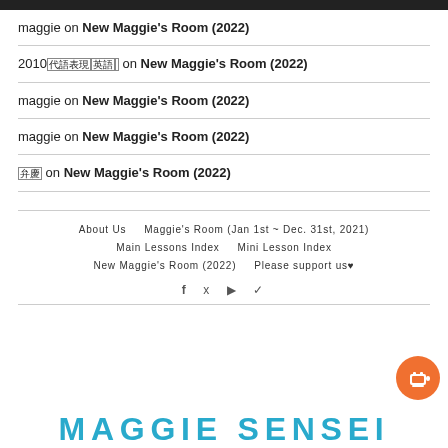maggie on New Maggie's Room (2022)
2010年代英語表現 on New Maggie's Room (2022)
maggie on New Maggie's Room (2022)
maggie on New Maggie's Room (2022)
弁慶 on New Maggie's Room (2022)
About Us   Maggie's Room (Jan 1st ~ Dec. 31st, 2021)   Main Lessons Index   Mini Lesson Index   New Maggie's Room (2022)   Please support us♥
MAGGIE SENSEI